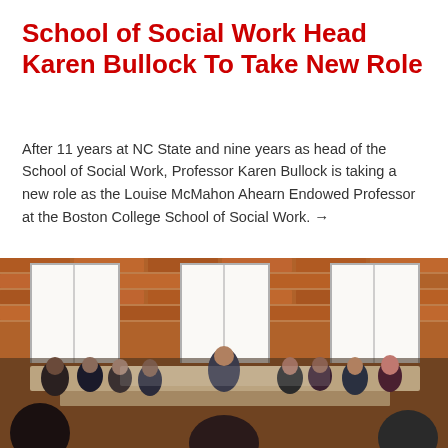School of Social Work Head Karen Bullock To Take New Role
After 11 years at NC State and nine years as head of the School of Social Work, Professor Karen Bullock is taking a new role as the Louise McMahon Ahearn Endowed Professor at the Boston College School of Social Work. →
[Figure (photo): A group of people seated around tables in a large room with exposed brick walls and tall windows, engaged in discussion or a meeting.]